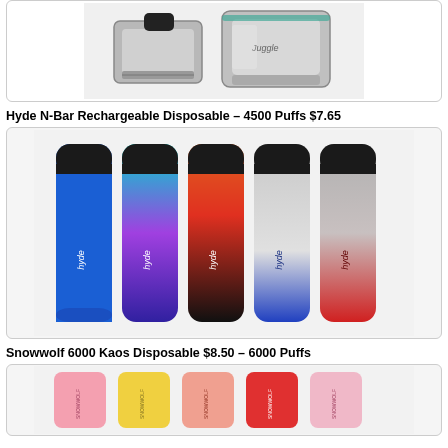[Figure (photo): Silver metal vape atomizer/RDA device shown from side angle, two cylindrical metal pieces]
Hyde N-Bar Rechargeable Disposable – 4500 Puffs $7.65
[Figure (photo): Five Hyde N-Bar disposable vape pens in different color gradients: blue glitter, purple/cyan, orange/black, blue/white, gray/red, each with black mouthpiece and Hyde logo]
Snowwolf 6000 Kaos Disposable $8.50 – 6000 Puffs
[Figure (photo): Multiple Snowwolf Kaos 6000 disposable vape devices in pink, yellow, coral/pink, red, and light pink colors with Snowwolf branding]